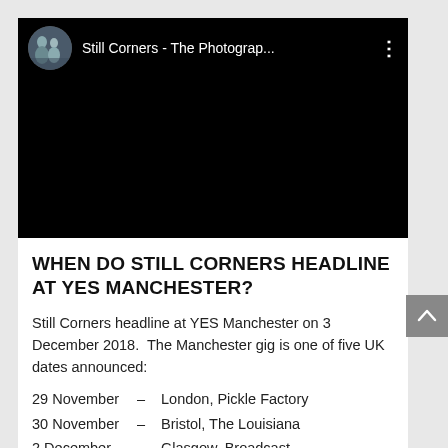[Figure (screenshot): YouTube-style video player showing a black screen with a channel avatar (two people outdoors), channel name 'Still Corners - The Photograp...' and a three-dot menu icon in the top bar.]
WHEN DO STILL CORNERS HEADLINE AT YES MANCHESTER?
Still Corners headline at YES Manchester on 3 December 2018.  The Manchester gig is one of five UK dates announced:
29 November  –  London, Pickle Factory
30 November  –  Bristol, The Louisiana
2 December   –  Glasgow, Broadcast